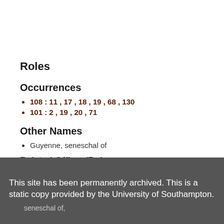Roles
Occurrences
108 : 11 , 17 , 18 , 19 , 68 , 130
101 : 2 , 19 , 20 , 71
Other Names
Guyenne, seneschal of
Related Offices/Roles
This site has been permanently archived. This is a static copy provided by the University of Southampton.
seneschal of,